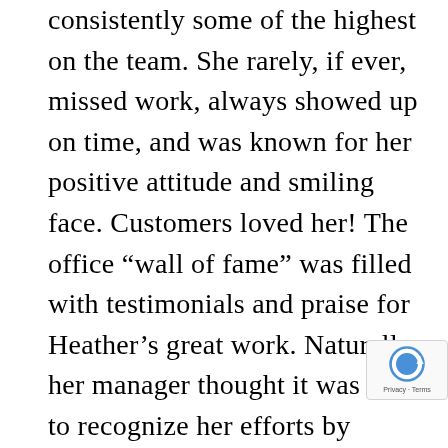consistently some of the highest on the team. She rarely, if ever, missed work, always showed up on time, and was known for her positive attitude and smiling face. Customers loved her! The office “wall of fame” was filled with testimonials and praise for Heather’s great work. Naturally, her manager thought it was time to recognize her efforts by giving her a raise and a promotion.

When Heather heard the news, she had mixed emotions. She appreciated the recognition and was thankful to see how